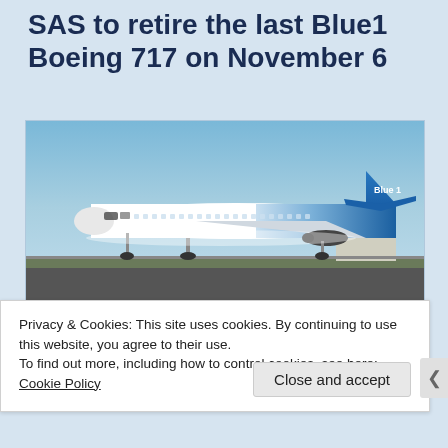SAS to retire the last Blue1 Boeing 717 on November 6
[Figure (photo): Blue1 Boeing 717 aircraft on a runway/tarmac, white fuselage with blue tail featuring 'Blue 1' livery, parked on airport apron with blue sky background]
Privacy & Cookies: This site uses cookies. By continuing to use this website, you agree to their use.
To find out more, including how to control cookies, see here: Cookie Policy
Close and accept